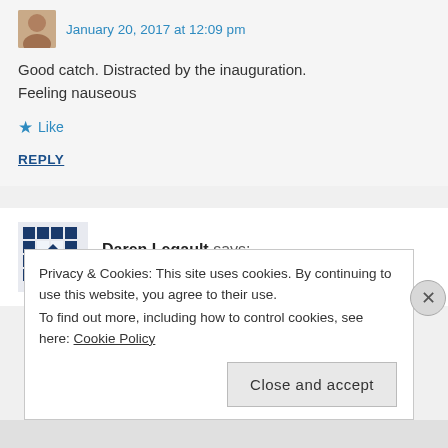January 20, 2017 at 12:09 pm
Good catch. Distracted by the inauguration. Feeling nauseous
Like
REPLY
Daren Legault says: January 20, 2017 at 5:37 pm
Privacy & Cookies: This site uses cookies. By continuing to use this website, you agree to their use. To find out more, including how to control cookies, see here: Cookie Policy
Close and accept